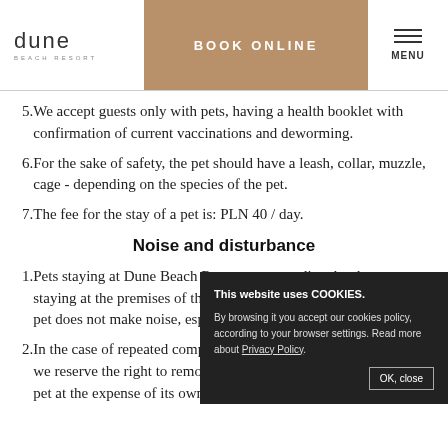dune BEACH RESORT | BOOK ONLINE | MENU
5. We accept guests only with pets, having a health booklet with confirmation of current vaccinations and deworming.
6. For the sake of safety, the pet should have a leash, collar, muzzle, cage - depending on the species of the pet.
7. The fee for the stay of a pet is: PLN 40 / day.
Noise and disturbance
1. Pets staying at Dune Beach Resort must not disturb other guests staying at the premises of the facility. Please make sure that your pet does not make noise, especially at night.
2. In the case of repeated complaints, we reserve the right to remove the pet at the expense of its owner.
This website uses COOKIES. By browsing it you accept our cookies policy, according to your browser settings. Read more about Privacy Policy. OK, close